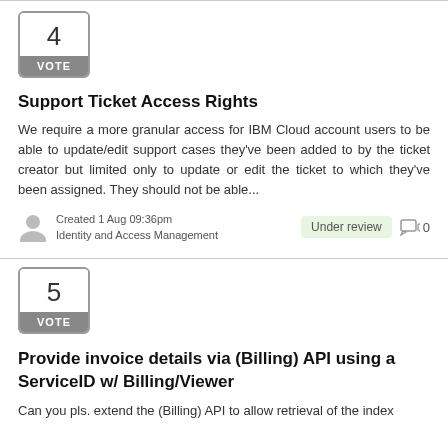[Figure (other): Vote box showing number 4 with VOTE label]
Support Ticket Access Rights
We require a more granular access for IBM Cloud account users to be able to update/edit support cases they've been added to by the ticket creator but limited only to update or edit the ticket to which they've been assigned. They should not be able...
Created 1 Aug 09:36pm
Identity and Access Management
Under review  0
[Figure (other): Vote box showing number 5 with VOTE label]
Provide invoice details via (Billing) API using a ServiceID w/ Billing/Viewer
Can you pls. extend the (Billing) API to allow retrieval of the index